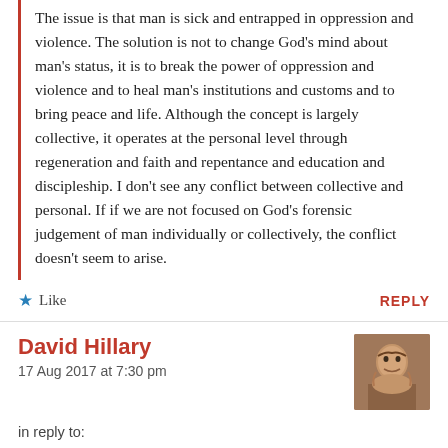The issue is that man is sick and entrapped in oppression and violence. The solution is not to change God's mind about man's status, it is to break the power of oppression and violence and to heal man's institutions and customs and to bring peace and life. Although the concept is largely collective, it operates at the personal level through regeneration and faith and repentance and education and discipleship. I don't see any conflict between collective and personal. If if we are not focused on God's forensic judgement of man individually or collectively, the conflict doesn't seem to arise.
Like
REPLY
David Hillary
17 Aug 2017 at 7:30 pm
in reply to:
'I don't agree with the Christians who – out of ignorance or otherwise – want to give the government a blank slate to